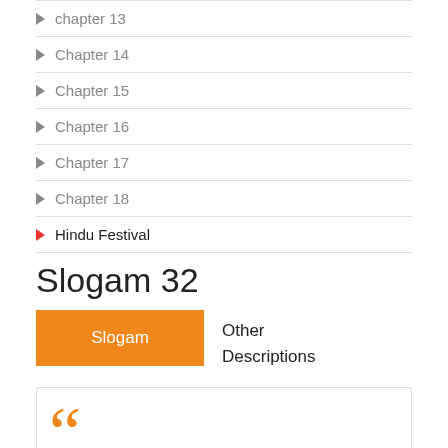chapter 13
Chapter 14
Chapter 15
Chapter 16
Chapter 17
Chapter 18
Hindu Festival
Slogam 32
| Slogam | Other Descriptions |
| --- | --- |
[Figure (other): Orange decorative quotation marks at bottom of page]